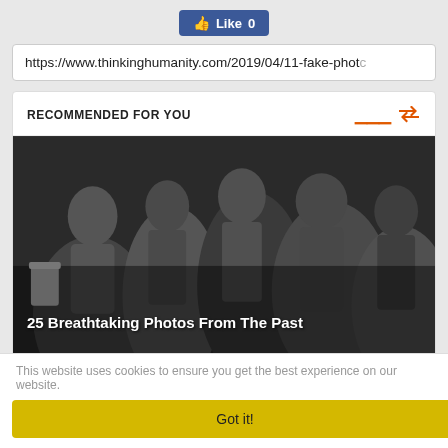[Figure (screenshot): Facebook Like button showing thumbs up icon and 'Like 0']
https://www.thinkinghumanity.com/2019/04/11-fake-photo
RECOMMENDED FOR YOU
[Figure (photo): Black and white historical photo of people dancing or gathering, with text overlay '25 Breathtaking Photos From The Past']
This website uses cookies to ensure you get the best experience on our website.
Got it!